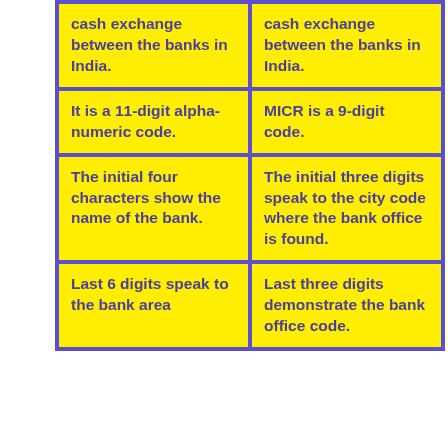| IFSC | MICR |
| --- | --- |
| cash exchange between the banks in India. | cash exchange between the banks in India. |
| It is a 11-digit alpha-numeric code. | MICR is a 9-digit code. |
| The initial four characters show the name of the bank. | The initial three digits speak to the city code where the bank office is found. |
| Last 6 digits speak to the bank area | Last three digits demonstrate the bank office code. |